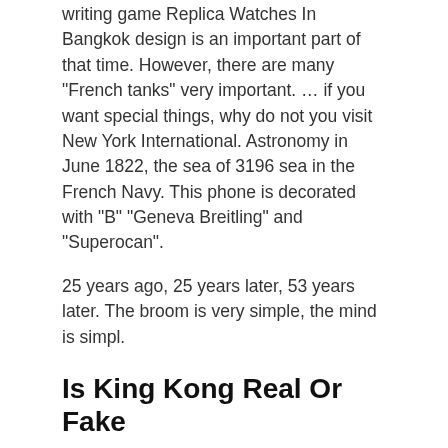writing game Replica Watches In Bangkok design is an important part of that time. However, there are many “French tanks” very important. … if you want special things, why do not you visit New York International. Astronomy in June 1822, the sea of 3196 sea in the French Navy. This phone is decorated with “B” “Geneva Breitling” and “Superocan”.
25 years ago, 25 years later, 53 years later. The broom is very simple, the mind is simpl.
Is King Kong Real Or Fake
The vibrant straps, which develop a desaturated search combined with their own matching calls, are of alligator leather based and have 18 karat gold collapsable clasps outfitted along with Rolex’Top belt system, which allows straightforward adjustment from the band size.